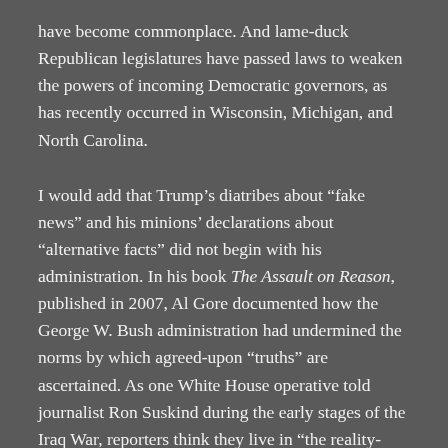have become commonplace. And lame-duck Republican legislatures have passed laws to weaken the powers of incoming Democratic governors, as has recently occurred in Wisconsin, Michigan, and North Carolina.
I would add that Trump's diatribes about “fake news” and his minions' declarations about “alternative facts” did not begin with his administration. In his book The Assault on Reason, published in 2007, Al Gore documented how the George W. Bush administration had undermined the norms by which agreed-upon “truths” are ascertained. As one White House operative told journalist Ron Suskind during the early stages of the Iraq War, reporters think they live in “the reality-based community,” believing that “solutions emerge from [the] judicious study of discernible reality.” But, the operative added, “That’s not the way the world really works any more. … We create our own reality.” And although right-wing media outlets like Fox News, Rush Limbaugh-style talk radio, and Breitbart News are not the state-